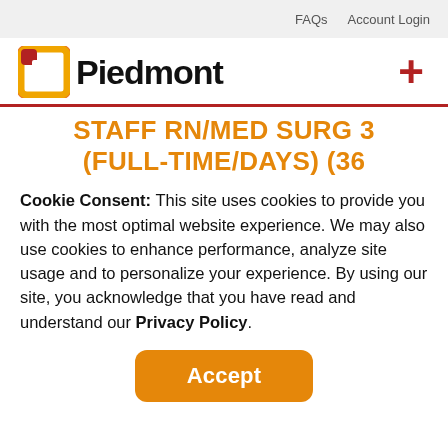FAQs   Account Login
[Figure (logo): Piedmont Healthcare logo with orange/red square bracket icon and bold black Piedmont text, with a dark red plus sign on the right]
STAFF RN/MED SURG 3 (FULL-TIME/DAYS) (36
Cookie Consent: This site uses cookies to provide you with the most optimal website experience. We may also use cookies to enhance performance, analyze site usage and to personalize your experience. By using our site, you acknowledge that you have read and understand our Privacy Policy.
Accept